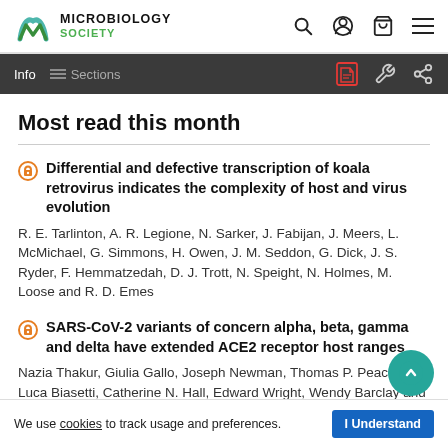[Figure (logo): Microbiology Society logo with stylized M icon and text MICROBIOLOGY SOCIETY]
Info  Sections
Most read this month
Differential and defective transcription of koala retrovirus indicates the complexity of host and virus evolution
R. E. Tarlinton, A. R. Legione, N. Sarker, J. Fabijan, J. Meers, L. McMichael, G. Simmons, H. Owen, J. M. Seddon, G. Dick, J. S. Ryder, F. Hemmatzedah, D. J. Trott, N. Speight, N. Holmes, M. Loose and R. D. Emes
SARS-CoV-2 variants of concern alpha, beta, gamma and delta have extended ACE2 receptor host ranges
Nazia Thakur, Giulia Gallo, Joseph Newman, Thomas P. Peacock, Luca Biasetti, Catherine N. Hall, Edward Wright, Wendy Barclay and Dalan Bailey
We use cookies to track usage and preferences.  I Understand